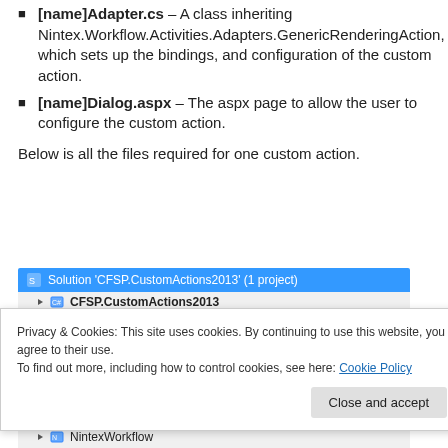[name]Adapter.cs – A class inheriting Nintex.Workflow.Activities.Adapters.GenericRenderingAction, which sets up the bindings, and configuration of the custom action.
[name]Dialog.aspx – The aspx page to allow the user to configure the custom action.
Below is all the files required for one custom action.
[Figure (screenshot): Visual Studio Solution Explorer showing Solution 'CFSP.CustomActions2013' (1 project) with CFSP.CustomActions2013 project, partially obscured by a cookie consent overlay. The bottom shows a NintexWorkflow node.]
Privacy & Cookies: This site uses cookies. By continuing to use this website, you agree to their use.
To find out more, including how to control cookies, see here: Cookie Policy
Close and accept